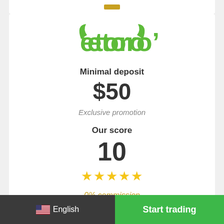[Figure (logo): eToro logo with green bull horns and text 'etoro' in green]
Minimal deposit
$50
Exclusive promotion
Our score
10
★★★★★
0% commission
🇺🇸 English
Start trading